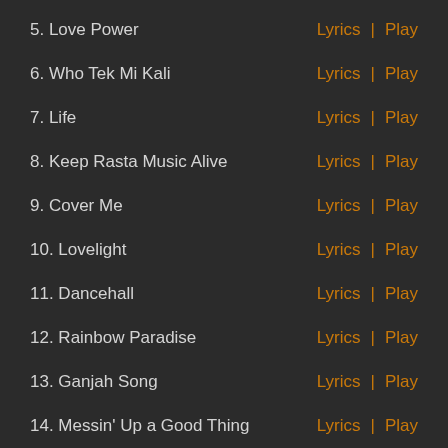5. Love Power | Lyrics | Play
6. Who Tek Mi Kali | Lyrics | Play
7. Life | Lyrics | Play
8. Keep Rasta Music Alive | Lyrics | Play
9. Cover Me | Lyrics | Play
10. Lovelight | Lyrics | Play
11. Dancehall | Lyrics | Play
12. Rainbow Paradise | Lyrics | Play
13. Ganjah Song | Lyrics | Play
14. Messin' Up a Good Thing | Lyrics | Play
15. Love I'm Feeling | Lyrics | Play